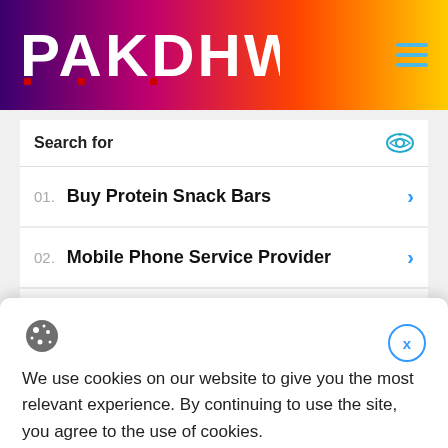PAKDHW
Search for
01. Buy Protein Snack Bars
02. Mobile Phone Service Provider
We use cookies on our website to give you the most relevant experience. By continuing to use the site, you agree to the use of cookies.
Decline
Accept